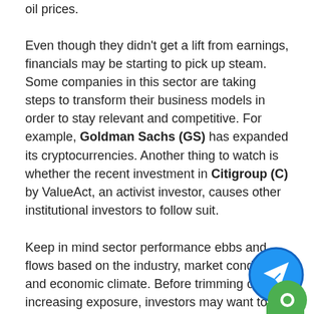oil prices.
Even though they didn't get a lift from earnings, financials may be starting to pick up steam. Some companies in this sector are taking steps to transform their business models in order to stay relevant and competitive. For example, Goldman Sachs (GS) has expanded its cryptocurrencies. Another thing to watch is whether the recent investment in Citigroup (C) by ValueAct, an activist investor, causes other institutional investors to follow suit.
Keep in mind sector performance ebbs and flows based on the industry, market conditions, and economic climate. Before trimming or increasing exposure, investors may want to consider how a particular sector fits with their overall investment strategy.